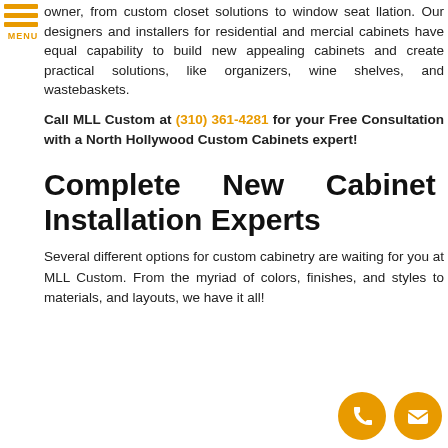owner, from custom closet solutions to window seat llation. Our designers and installers for residential and mercial cabinets have equal capability to build new appealing cabinets and create practical solutions, like organizers, wine shelves, and wastebaskets.
Call MLL Custom at (310) 361-4281 for your Free Consultation with a North Hollywood Custom Cabinets expert!
Complete New Cabinet Installation Experts
Several different options for custom cabinetry are waiting for you at MLL Custom. From the myriad of colors, finishes, and styles to materials, and layouts, we have it all!